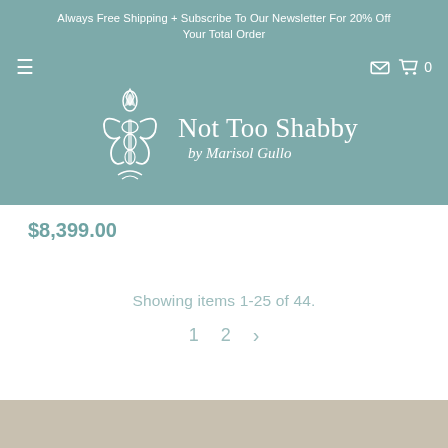Always Free Shipping + Subscribe To Our Newsletter For 20% Off Your Total Order
[Figure (logo): Not Too Shabby by Marisol Gullo logo with fleur-de-lis ornament on teal/sage green background]
$8,399.00
Showing items 1-25 of 44.
1  2  >